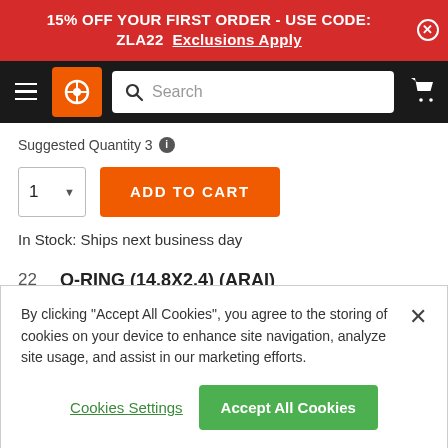15% OFF YOUR FIRST ORDER - USE CODE: ZLA22  Exclusions Apply
[Figure (screenshot): Website navigation bar with hamburger menu, orange logo icon, search bar, and cart icon on black background]
Suggested Quantity 3
1  ADD TO CART
In Stock: Ships next business day
22  O-RING (14.8X2.4) (ARAI)
01303-KE0-003
By clicking "Accept All Cookies", you agree to the storing of cookies on your device to enhance site navigation, analyze site usage, and assist in our marketing efforts.
Cookies Settings    Accept All Cookies